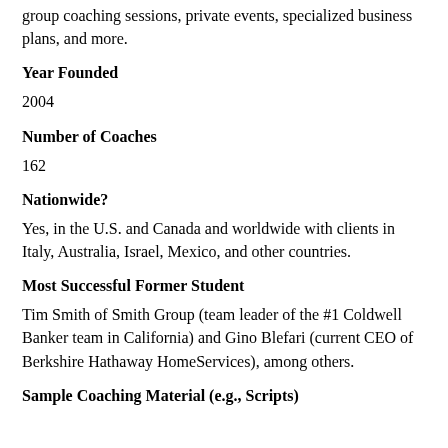group coaching sessions, private events, specialized business plans, and more.
Year Founded
2004
Number of Coaches
162
Nationwide?
Yes, in the U.S. and Canada and worldwide with clients in Italy, Australia, Israel, Mexico, and other countries.
Most Successful Former Student
Tim Smith of Smith Group (team leader of the #1 Coldwell Banker team in California) and Gino Blefari (current CEO of Berkshire Hathaway HomeServices), among others.
Sample Coaching Material (e.g., Scripts)